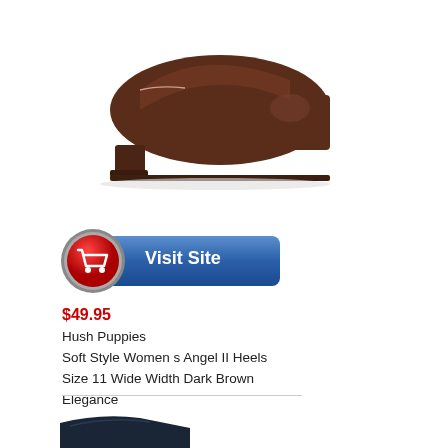[Figure (photo): Dark brown low-heel women's dress shoe (pump) viewed from the side, on white background]
[Figure (other): Blue 'Visit Site' button with red shopping cart icon on the left]
$49.95
Hush Puppies
Soft Style Women s Angel II Heels Size 11 Wide Width Dark Brown Elegance
[Figure (photo): Partial view of a dark navy/black women's pump shoe at bottom of page]